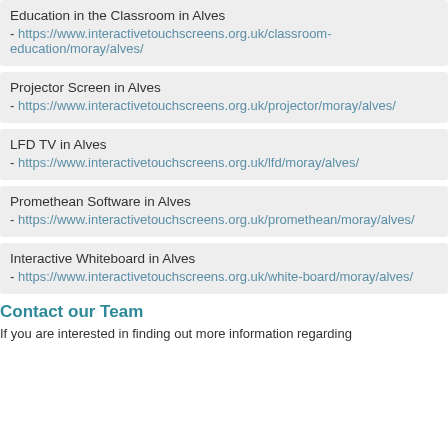Education in the Classroom in Alves
- https://www.interactivetouchscreens.org.uk/classroom-education/moray/alves/
Projector Screen in Alves
- https://www.interactivetouchscreens.org.uk/projector/moray/alves/
LFD TV in Alves
- https://www.interactivetouchscreens.org.uk/lfd/moray/alves/
Promethean Software in Alves
- https://www.interactivetouchscreens.org.uk/promethean/moray/alves/
Interactive Whiteboard in Alves
- https://www.interactivetouchscreens.org.uk/white-board/moray/alves/
Contact our Team
If you are interested in finding out more information regarding